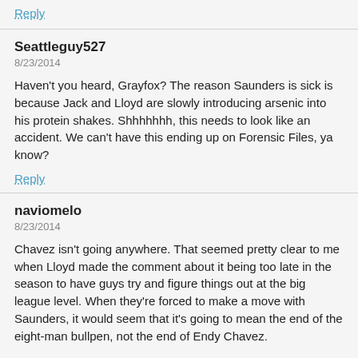Reply
Seattleguy527
8/23/2014
Haven't you heard, Grayfox? The reason Saunders is sick is because Jack and Lloyd are slowly introducing arsenic into his protein shakes. Shhhhhhh, this needs to look like an accident. We can't have this ending up on Forensic Files, ya know?
Reply
naviomelo
8/23/2014
Chavez isn't going anywhere. That seemed pretty clear to me when Lloyd made the comment about it being too late in the season to have guys try and figure things out at the big league level. When they're forced to make a move with Saunders, it would seem that it's going to mean the end of the eight-man bullpen, not the end of Endy Chavez.